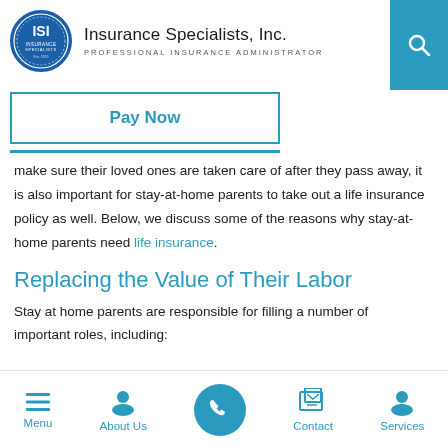[Figure (logo): Insurance Specialists, Inc. circular logo with ISI initials and blue border, alongside company name and tagline 'PROFESSIONAL INSURANCE ADMINISTRATOR']
[Figure (other): Teal search icon in blue rectangle in top right corner]
Pay Now
make sure their loved ones are taken care of after they pass away, it is also important for stay-at-home parents to take out a life insurance policy as well. Below, we discuss some of the reasons why stay-at-home parents need life insurance.
Replacing the Value of Their Labor
Stay at home parents are responsible for filling a number of important roles, including:
[Figure (other): Bottom navigation bar with Menu, About Us, Call (phone), Contact, and Services icons]